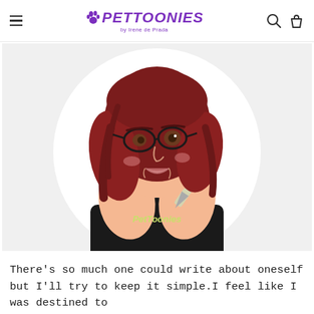PETTOONIES - by Irene de Prada
[Figure (illustration): Cartoon illustration of a young woman with red/auburn hair and glasses, wearing a black t-shirt that reads 'PetToonies', holding a large pen/marker. The figure is shown from the waist up inside a circular white frame on a light gray background.]
There's so much one could write about oneself but I'll try to keep it simple.I feel like I was destined to